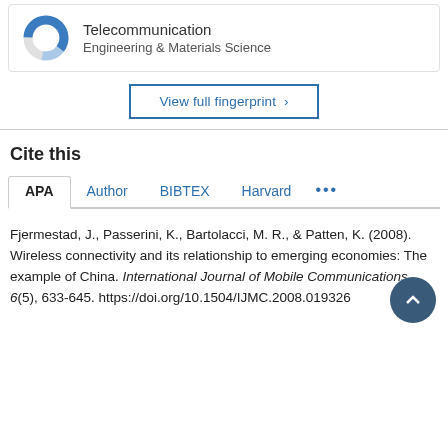[Figure (donut-chart): Partial donut chart representing Telecommunication percentage in Engineering & Materials Science]
Telecommunication
Engineering & Materials Science
View full fingerprint >
Cite this
APA  Author  BIBTEX  Harvard  ...
Fjermestad, J., Passerini, K., Bartolacci, M. R., & Patten, K. (2008). Wireless connectivity and its relationship to emerging economies: The example of China. International Journal of Mobile Communications, 6(5), 633-645. https://doi.org/10.1504/IJMC.2008.019326